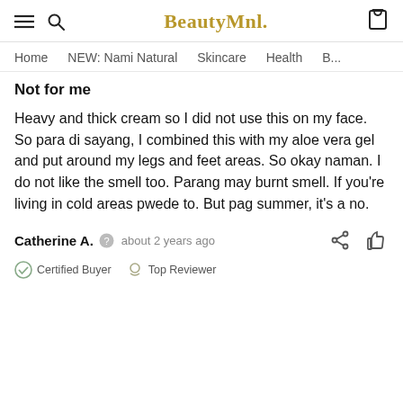BeautyMnl.
Home   NEW: Nami Natural   Skincare   Health   B...
Not for me
Heavy and thick cream so I did not use this on my face. So para di sayang, I combined this with my aloe vera gel and put around my legs and feet areas. So okay naman. I do not like the smell too. Parang may burnt smell. If you're living in cold areas pwede to. But pag summer, it's a no.
Catherine A.  about 2 years ago
Certified Buyer   Top Reviewer